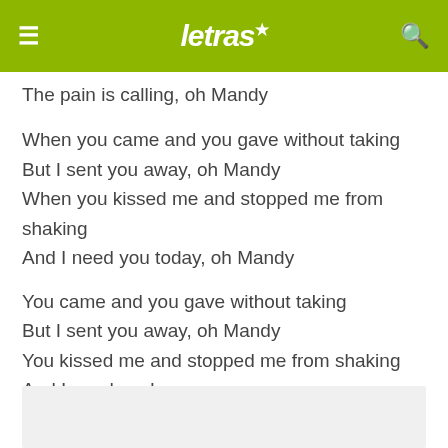letras
The pain is calling, oh Mandy
When you came and you gave without taking
But I sent you away, oh Mandy
When you kissed me and stopped me from shaking
And I need you today, oh Mandy
You came and you gave without taking
But I sent you away, oh Mandy
You kissed me and stopped me from shaking
And I need you!
[Figure (other): Light gray advertisement banner at the bottom of the page]